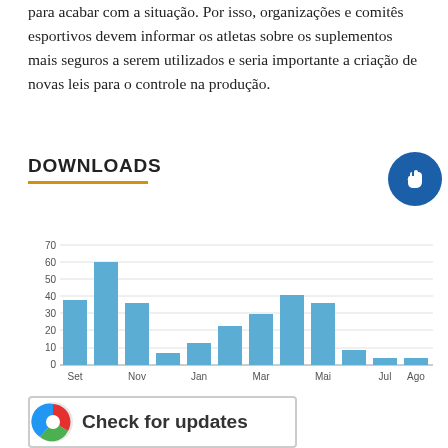para acabar com a situação. Por isso, organizações e comitês esportivos devem informar os atletas sobre os suplementos mais seguros a serem utilizados e seria importante a criação de novas leis para o controle na produção.
DOWNLOADS
[Figure (bar-chart): DOWNLOADS]
[Figure (logo): Check for updates banner with pie chart icon]